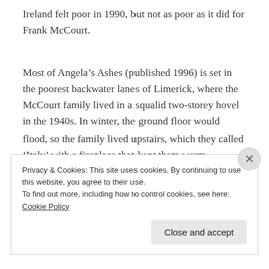Ireland felt poor in 1990, but not as poor as it did for Frank McCourt.
Most of Angela's Ashes (published 1996) is set in the poorest backwater lanes of Limerick, where the McCourt family lived in a squalid two-storey hovel in the 1940s. In winter, the ground floor would flood, so the family lived upstairs, which they called ‘Italy’ with a fireplace that kept them warm, surviving on fried bread and tea.
Privacy & Cookies: This site uses cookies. By continuing to use this website, you agree to their use.
To find out more, including how to control cookies, see here: Cookie Policy
Close and accept